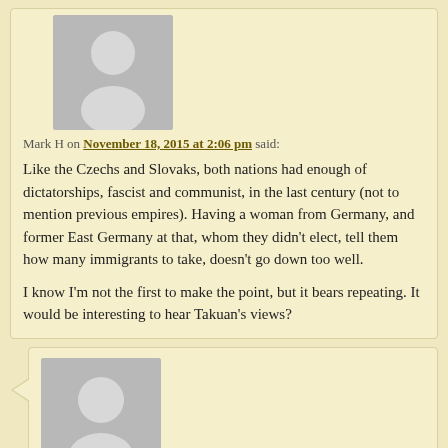Mark H on November 18, 2015 at 2:06 pm said:
Like the Czechs and Slovaks, both nations had enough of dictatorships, fascist and communist, in the last century (not to mention previous empires). Having a woman from Germany, and former East Germany at that, whom they didn't elect, tell them how many immigrants to take, doesn't go down too well.

I know I'm not the first to make the point, but it bears repeating. It would be interesting to hear Takuan's views?
manatthepub on November 18, 2015 at 2:09 pm said:
More good news. I don't know what the establishment is up to – you can exhaust yourself